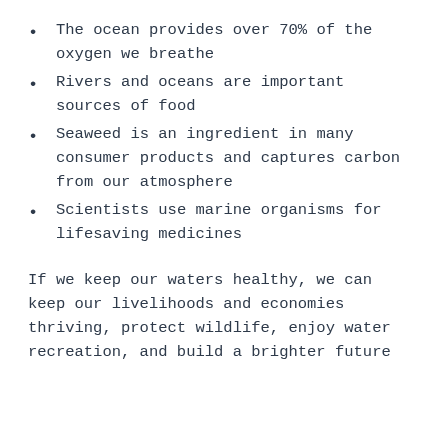The ocean provides over 70% of the oxygen we breathe
Rivers and oceans are important sources of food
Seaweed is an ingredient in many consumer products and captures carbon from our atmosphere
Scientists use marine organisms for lifesaving medicines
If we keep our waters healthy, we can keep our livelihoods and economies thriving, protect wildlife, enjoy water recreation, and build a brighter future